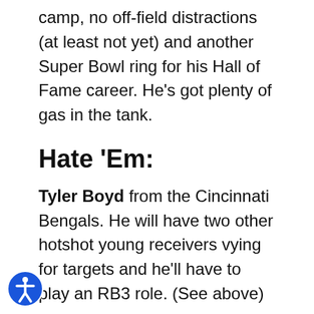camp, no off-field distractions (at least not yet) and another Super Bowl ring for his Hall of Fame career. He's got plenty of gas in the tank.
Hate 'Em:
Tyler Boyd from the Cincinnati Bengals. He will have two other hotshot young receivers vying for targets and he'll have to play an RB3 role. (See above)
Julio Jones of the Tennessee Titans. All I can say about this is, I just don't like Ryan Tannehill. I had Tannehill down in Miami and I always thought he was an average quarterback and a game